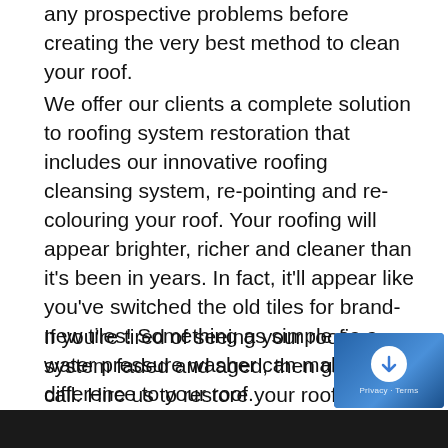any prospective problems before creating the very best method to clean your roof.
We offer our clients a complete solution to roofing system restoration that includes our innovative roofing cleansing system, re-pointing and re-colouring your roof. Your roofing will appear brighter, richer and cleaner than it's been in years. In fact, it'll appear like you've switched the old tiles for brand-new tiles! Something as simple as a water pressure washer can make all the difference to your roof.
If you're tired of seeing your roofing system faded and aged, then give us a call. Hire us to restore your roof today, and take pleasure in the facelift that it gives your home.
[Figure (photo): Dark bottom bar / image strip at the bottom of the page]